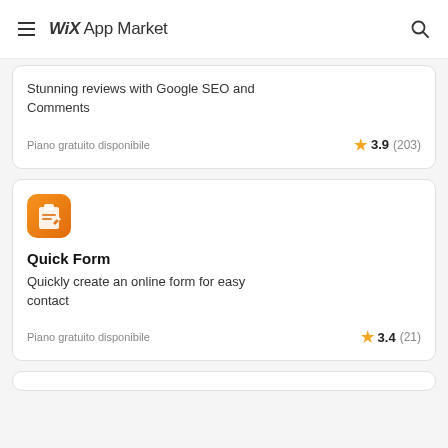Wix App Market
Stunning reviews with Google SEO and Comments
Piano gratuito disponibile  3.9 (203)
[Figure (logo): Quick Form app icon — orange rounded square with clipboard and pencil symbol]
Quick Form
Quickly create an online form for easy contact
Piano gratuito disponibile  3.4 (21)